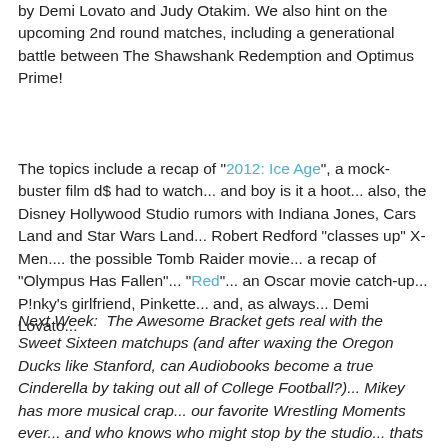by Demi Lovato and Judy Otakim. We also hint on the upcoming 2nd round matches, including a generational battle between The Shawshank Redemption and Optimus Prime!
The topics include a recap of "2012: Ice Age", a mock-buster film d$ had to watch... and boy is it a hoot... also, the Disney Hollywood Studio rumors with Indiana Jones, Cars Land and Star Wars Land... Robert Redford "classes up" X-Men.... the possible Tomb Raider movie... a recap of "Olympus Has Fallen"... "Red"... an Oscar movie catch-up... P!nky's girlfriend, Pinkette... and, as always... Demi Lovato...
Next Week:  The Awesome Bracket gets real with the Sweet Sixteen matchups (and after waxing the Oregon Ducks like Stanford, can Audiobooks become a true Cinderella by taking out all of College Football?)... Mikey has more musical crap... our favorite Wrestling Moments ever... and who knows who might stop by the studio... thats on The Deucecase Episode XCVI: No Pods Barred